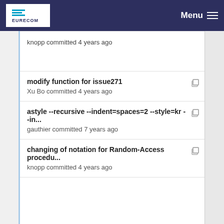EURECOM Menu
knopp committed 4 years ago
modify function for issue271
Xu Bo committed 4 years ago
astyle --recursive --indent=spaces=2 --style=kr --in...
gauthier committed 7 years ago
changing of notation for Random-Access procedu...
knopp committed 4 years ago